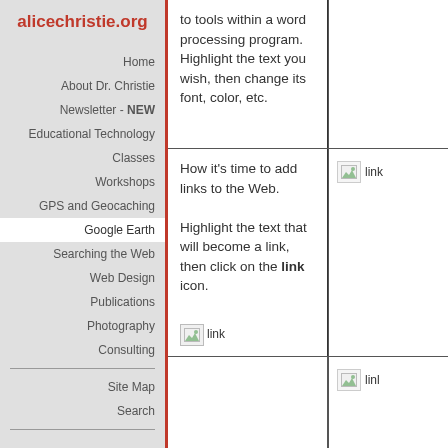alicechristie.org
Home
About Dr. Christie
Newsletter - NEW
Educational Technology
Classes
Workshops
GPS and Geocaching
Google Earth
Searching the Web
Web Design
Publications
Photography
Consulting
Site Map
Search
to tools within a word processing program. Highlight the text you wish, then change its font, color, etc.
[Figure (other): Broken image placeholder labeled 'link']
How it's time to add links to the Web.

Highlight the text that will become a link, then click on the link icon.
[Figure (other): Small broken image placeholder labeled 'link']
[Figure (other): Broken image placeholder labeled 'link']
[Figure (other): Broken image placeholder labeled 'linl']